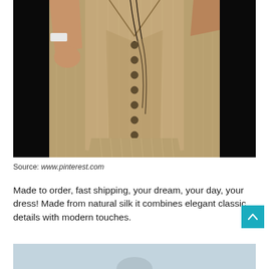[Figure (photo): Fashion photo of a model wearing a tan/khaki pinstripe suit with buttoned vest, blazer, and matching bottom, photographed against a dark background]
Source: www.pinterest.com
Made to order, fast shipping, your dream, your day, your dress! Made from natural silk it combines elegant classic details with modern touches.
[Figure (photo): Partial bottom image, light blue/grey background, partially visible]